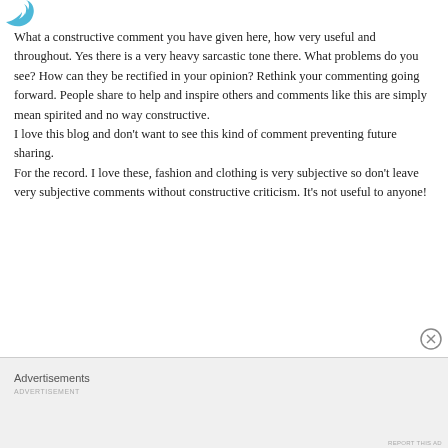[Figure (logo): Blue bird/Twitter-style logo icon at top left]
What a constructive comment you have given here, how very useful and throughout. Yes there is a very heavy sarcastic tone there. What problems do you see? How can they be rectified in your opinion? Rethink your commenting going forward. People share to help and inspire others and comments like this are simply mean spirited and no way constructive.
I love this blog and don't want to see this kind of comment preventing future sharing.
For the record. I love these, fashion and clothing is very subjective so don't leave very subjective comments without constructive criticism. It's not useful to anyone!
Advertisements